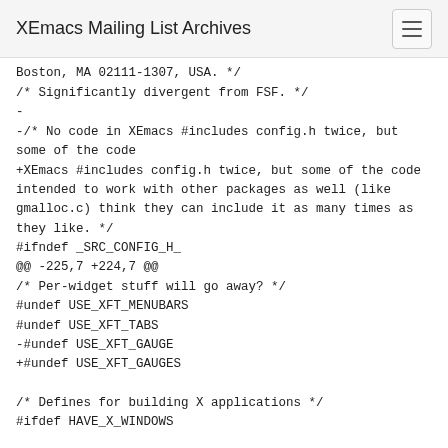XEmacs Mailing List Archives
Boston, MA 02111-1307, USA. */
/* Significantly divergent from FSF. */
-
-/* No code in XEmacs #includes config.h twice, but some of the code
+XEmacs #includes config.h twice, but some of the code intended to work with other packages as well (like gmalloc.c) think they can include it as many times as they like. */
#ifndef _SRC_CONFIG_H_
@@ -225,7 +224,7 @@
/* Per-widget stuff will go away? */
#undef USE_XFT_MENUBARS
#undef USE_XFT_TABS
-#undef USE_XFT_GAUGE
+#undef USE_XFT_GAUGES

/* Defines for building X applications */
#ifdef HAVE_X_WINDOWS